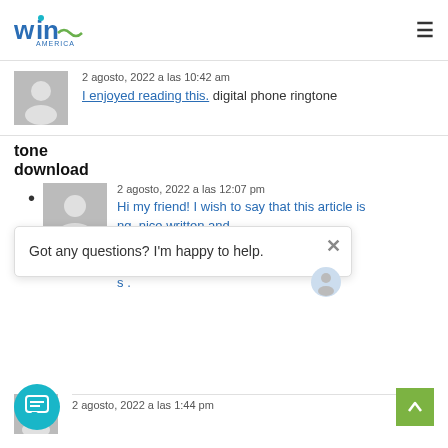Win America logo + hamburger menu
2 agosto, 2022 a las 10:42 am
I enjoyed reading this. digital phone ringtone
tone download
2 agosto, 2022 a las 12:07 pm
Hi my friend! I wish to say that this article is ng, nice written and e approximately all vital d like to look extra posts s.
Got any questions? I'm happy to help.
2 agosto, 2022 a las 1:44 pm